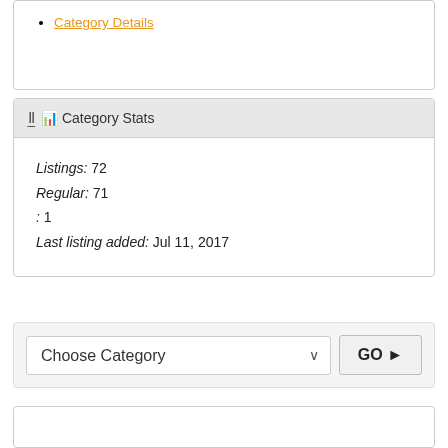Category Details
Category Stats
Listings: 72
Regular: 71
: 1
Last listing added: Jul 11, 2017
Choose Category  GO ▶